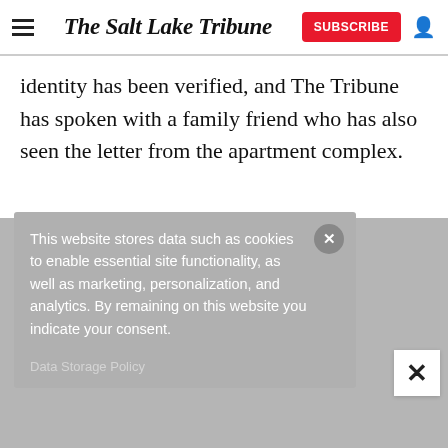The Salt Lake Tribune
identity has been verified, and The Tribune has spoken with a family friend who has also seen the letter from the apartment complex.
[Figure (screenshot): Cookie consent popup overlay with gray background. Text reads: 'This website stores data such as cookies to enable essential site functionality, as well as marketing, personalization, and analytics. By remaining on this website you indicate your consent.' with a 'Data Storage Policy' link at bottom and an X close button.]